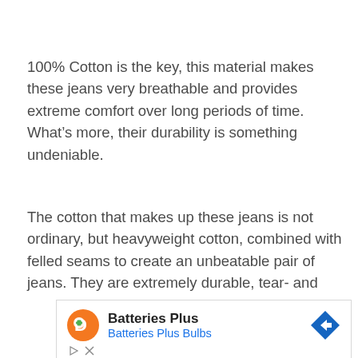100% Cotton is the key, this material makes these jeans very breathable and provides extreme comfort over long periods of time. What’s more, their durability is something undeniable.
The cotton that makes up these jeans is not ordinary, but heavyweight cotton, combined with felled seams to create an unbeatable pair of jeans. They are extremely durable, tear- and
[Figure (screenshot): Advertisement for Batteries Plus / Batteries Plus Bulbs with orange circular logo featuring a green plus sign, the brand name in bold, subtitle in blue, and a blue diamond navigation arrow icon on the right.]